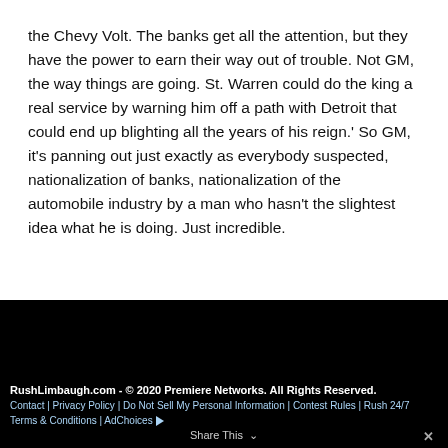the Chevy Volt. The banks get all the attention, but they have the power to earn their way out of trouble. Not GM, the way things are going. St. Warren could do the king a real service by warning him off a path with Detroit that could end up blighting all the years of his reign.' So GM, it's panning out just exactly as everybody suspected, nationalization of banks, nationalization of the automobile industry by a man who hasn't the slightest idea what he is doing. Just incredible.
RushLimbaugh.com - © 2020 Premiere Networks. All Rights Reserved.
Contact | Privacy Policy | Do Not Sell My Personal Information | Contest Rules | Rush 24/7 Terms & Conditions | AdChoices ▷
Share This ∨ ✕